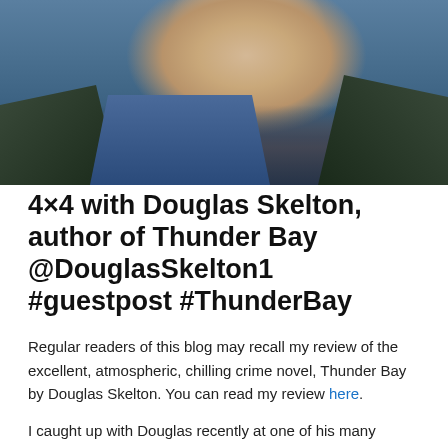[Figure (photo): Photo of Douglas Skelton, a man photographed outdoors near water, wearing a blue shirt and dark jacket, with blue-grey water visible in the background.]
4×4 with Douglas Skelton, author of Thunder Bay @DouglasSkelton1 #guestpost #ThunderBay
Regular readers of this blog may recall my review of the excellent, atmospheric, chilling crime novel, Thunder Bay by Douglas Skelton. You can read my review here.
I caught up with Douglas recently at one of his many excellent events around Scotland and took the chance to